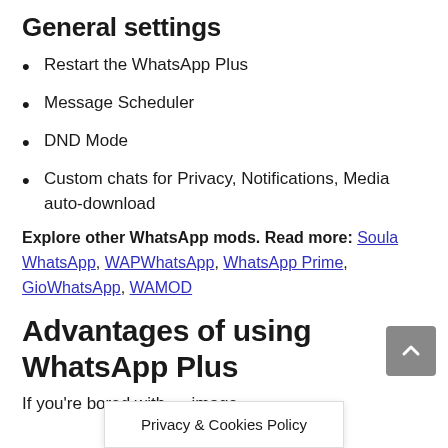General settings
Restart the WhatsApp Plus
Message Scheduler
DND Mode
Custom chats for Privacy, Notifications, Media auto-download
Explore other WhatsApp mods. Read more: Soula WhatsApp, WAPWhatsApp, WhatsApp Prime, GioWhatsApp, WAMOD
Advantages of using WhatsApp Plus
If you're bored with … image
Privacy & Cookies Policy